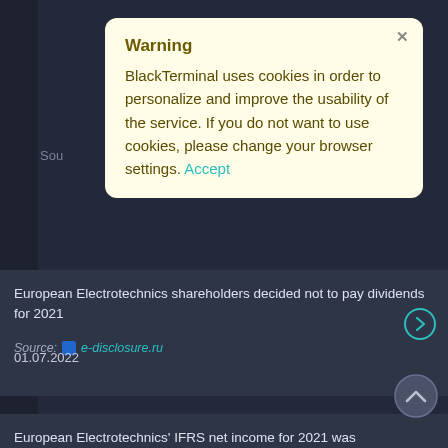[Figure (screenshot): Cookie warning modal overlay on BlackTerminal financial news website. Modal has light yellow background with bold 'Warning' heading and body text about cookies. Below the modal are two news items about European Electrotechnics on a dark background.]
Warning
BlackTerminal uses cookies in order to personalize and improve the usability of the service. If you do not want to use cookies, please change your browser settings. Accept
European Electrotechnics shareholders decided not to pay dividends for 2021
01.07.2022
Source: e-disclosure.ru
European Electrotechnics' IFRS net income for 2021 was ₽407.371 million, up 11% from ₽367.05 million in the previous year. Revenue rose 29.2% to ₽4.557 billion compared to ₽3.527 billion a year earlier.
02.05.2022